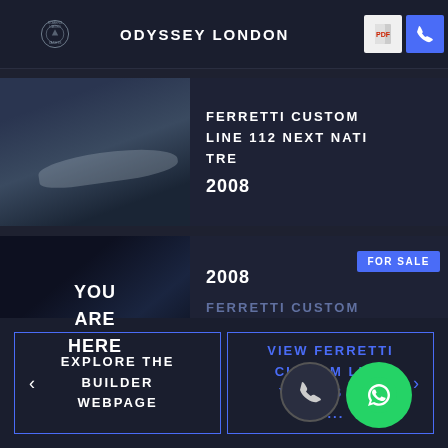ODYSSEY LONDON
[Figure (photo): Yacht photo for Ferretti Custom Line 112 Next Nati Tre listing]
FERRETTI CUSTOM LINE 112 NEXT NATI TRE   2008
[Figure (photo): Yacht photo with YOU ARE HERE overlay for current listing]
FOR SALE
FERRETTI CUSTOM LINE 112 NEXT TIAN   2008   €3,900,000 ($3,902,589)
EXPLORE THE BUILDER WEBPAGE
VIEW FERRETTI CUSTOM LINE YACHTS FOR S...